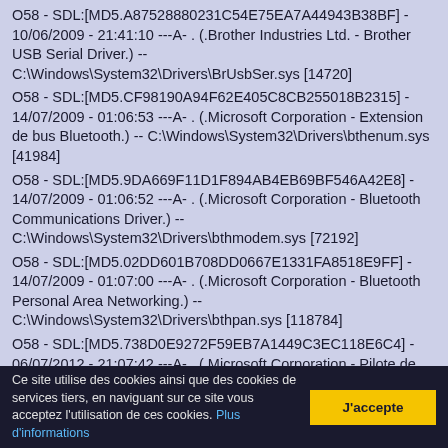O58 - SDL:[MD5.A87528880231C54E75EA7A44943B38BF] - 10/06/2009 - 21:41:10 ---A- . (.Brother Industries Ltd. - Brother USB Serial Driver.) -- C:\Windows\System32\Drivers\BrUsbSer.sys [14720]
O58 - SDL:[MD5.CF98190A94F62E405C8CB255018B2315] - 14/07/2009 - 01:06:53 ---A- . (.Microsoft Corporation - Extension de bus Bluetooth.) -- C:\Windows\System32\Drivers\bthenum.sys [41984]
O58 - SDL:[MD5.9DA669F11D1F894AB4EB69BF546A42E8] - 14/07/2009 - 01:06:52 ---A- . (.Microsoft Corporation - Bluetooth Communications Driver.) -- C:\Windows\System32\Drivers\bthmodem.sys [72192]
O58 - SDL:[MD5.02DD601B708DD0667E1331FA8518E9FF] - 14/07/2009 - 01:07:00 ---A- . (.Microsoft Corporation - Bluetooth Personal Area Networking.) -- C:\Windows\System32\Drivers\bthpan.sys [118784]
O58 - SDL:[MD5.738D0E9272F59EB7A1449C3EC118E6C4] - 06/07/2012 - 21:07:42 ---A- . (.Microsoft Corporation - Pilote de bus Bluetooth.) -- C:\Windows\System32\Drivers\bthport.sys
Ce site utilise des cookies ainsi que des cookies de services tiers, en naviguant sur ce site vous acceptez l'utilisation de ces cookies. Plus d'informations